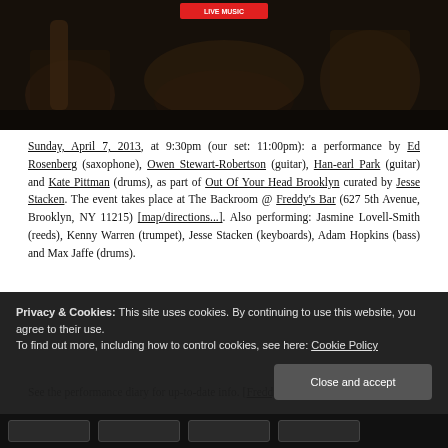[Figure (photo): Dark photograph of musicians performing, sitting with instruments in a dimly lit venue. A small red badge/button is visible at the top center of the image.]
Sunday, April 7, 2013, at 9:30pm (our set: 11:00pm): a performance by Ed Rosenberg (saxophone), Owen Stewart-Robertson (guitar), Han-earl Park (guitar) and Kate Pittman (drums), as part of Out Of Your Head Brooklyn curated by Jesse Stacken. The event takes place at The Backroom @ Freddy's Bar (627 5th Avenue, Brooklyn, NY 11215) [map/directions...]. Also performing: Jasmine Lovell-Smith (reeds), Kenny Warren (trumpet), Jesse Stacken (keyboards), Adam Hopkins (bass) and Max Jaffe (drums).
See the performance diary for up-to-date info. [Freddy's
Privacy & Cookies: This site uses cookies. By continuing to use this website, you agree to their use.
To find out more, including how to control cookies, see here: Cookie Policy
Close and accept